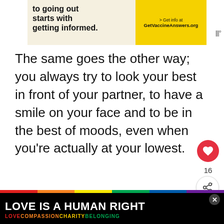[Figure (screenshot): Advertisement banner showing text about getting informed with GetVaccineAnswers.org on a yellow background]
The same goes the other way; you always try to look your best in front of your partner, to have a smile on your face and to be in the best of moods, even when you're actually at your lowest.
[Figure (infographic): Heart/like button (red circle with heart icon), like count 16, and share button]
[Figure (screenshot): What's Next callout: 15 Clear Signs He Is Makin... with thumbnail image]
You don't let the things come with your fi...
[Figure (infographic): LOVE IS A HUMAN RIGHT advertisement banner with rainbow colors and LOVE COMPASSION CHARITY BELONGING tagline]